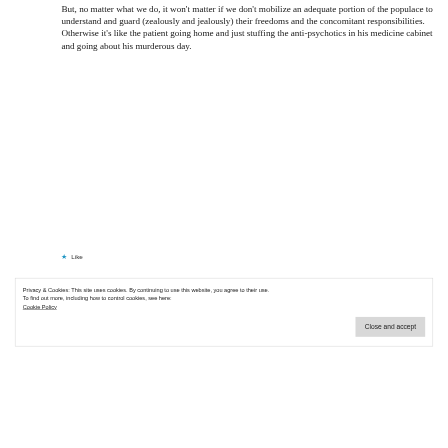But, no matter what we do, it won't matter if we don't mobilize an adequate portion of the populace to understand and guard (zealously and jealously) their freedoms and the concomitant responsibilities. Otherwise it's like the patient going home and just stuffing the anti-psychotics in his medicine cabinet and going about his murderous day.
★ Like
Privacy & Cookies: This site uses cookies. By continuing to use this website, you agree to their use.
To find out more, including how to control cookies, see here:
Cookie Policy
Close and accept